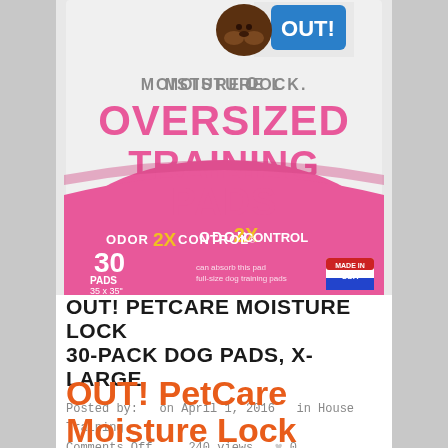[Figure (photo): Product packaging for OUT! PetCare Moisture Lock Oversized Training Pads, 30-pack, X-Large. Pink and white packaging showing a chocolate Labrador puppy, with text 'MOISTURE LOCK OVERSIZED TRAINING PADS', 'ODOR 2X CONTROL', '30 PADS', and 'Made in USA' badge.]
OUT! PETCARE MOISTURE LOCK 30-PACK DOG PADS, X-LARGE
Posted by:  on April 1, 2016  in House Training
Comments Off     240 views    ♥ 0
OUT! PetCare Moisture Lock 30-Pack Dog